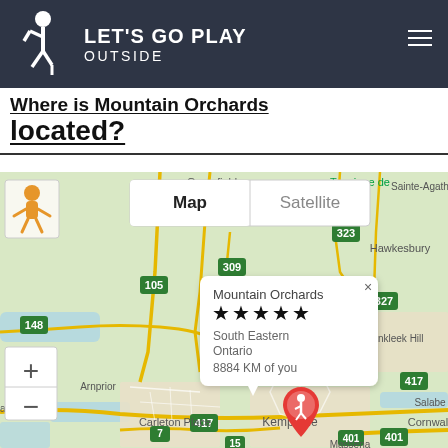LET'S GO PLAY OUTSIDE
Where is Mountain Orchards located?
[Figure (map): Google Map showing region around Kemptville, Ontario, Canada. Shows roads 307, 309, 148, 105, 417, 401, 323, 327, 7, 15. Location labels include Gracefield, Sainte-Agaht, Hawkesbury, Vankleek Hill, Arnprior, Renfrew, Carleton Place, Kemptville, Cornwall, Massena. A red map pin with hiker icon marks Mountain Orchards location near Kemptville. A popup shows: Mountain Orchards, 4 stars, South Eastern Ontario, 8884 KM of you. Map toggle shows Map and Satellite views. Pegman icon visible. Zoom +/- controls visible.]